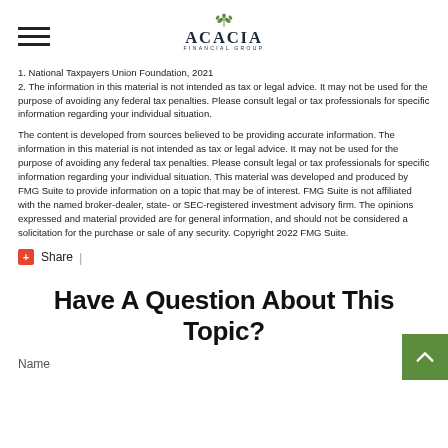Acacia Financial Group
1. National Taxpayers Union Foundation, 2021
2. The information in this material is not intended as tax or legal advice. It may not be used for the purpose of avoiding any federal tax penalties. Please consult legal or tax professionals for specific information regarding your individual situation.
The content is developed from sources believed to be providing accurate information. The information in this material is not intended as tax or legal advice. It may not be used for the purpose of avoiding any federal tax penalties. Please consult legal or tax professionals for specific information regarding your individual situation. This material was developed and produced by FMG Suite to provide information on a topic that may be of interest. FMG Suite is not affiliated with the named broker-dealer, state- or SEC-registered investment advisory firm. The opinions expressed and material provided are for general information, and should not be considered a solicitation for the purchase or sale of any security. Copyright 2022 FMG Suite.
Share |
Have A Question About This Topic?
Name